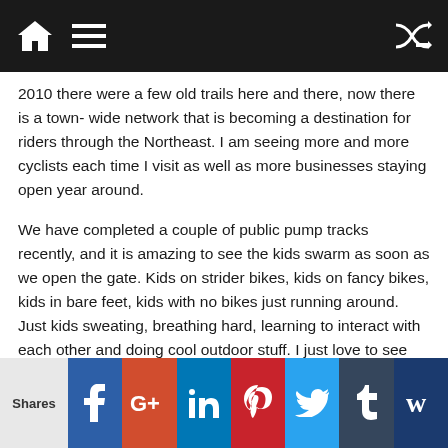Navigation bar with home, menu, and shuffle icons
2010 there were a few old trails here and there, now there is a town- wide network that is becoming a destination for riders through the Northeast. I am seeing more and more cyclists each time I visit as well as more businesses staying open year around.
We have completed a couple of public pump tracks recently, and it is amazing to see the kids swarm as soon as we open the gate. Kids on strider bikes, kids on fancy bikes, kids in bare feet, kids with no bikes just running around. Just kids sweating, breathing hard, learning to interact with each other and doing cool outdoor stuff. I just love to see these positive changes happening.
What are your favorite trail projects?
Shares | Facebook | Google+ | LinkedIn | Pinterest | Twitter | Tumblr | StumbleUpon